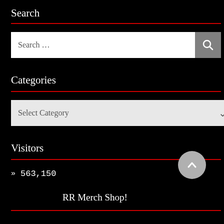Search
[Figure (screenshot): Search input box with magnifying glass button]
Categories
[Figure (screenshot): Select Category dropdown]
Visitors
» 563,150
RR Merch Shop!